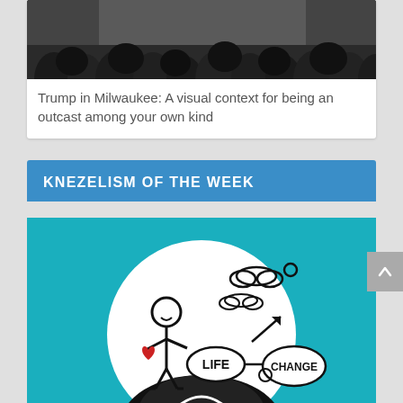[Figure (photo): Black and white photo of a crowd of people, viewed from behind, in what appears to be an auditorium or event space.]
Trump in Milwaukee: A visual context for being an outcast among your own kind
KNEZELISM OF THE WEEK
[Figure (illustration): A teal/turquoise background with a circular illustration showing a stick figure holding a red heart, with speech bubbles labeled 'LIFE' and 'CHANGE' with an upward arrow, clouds, and a road/path depicted inside the circle.]